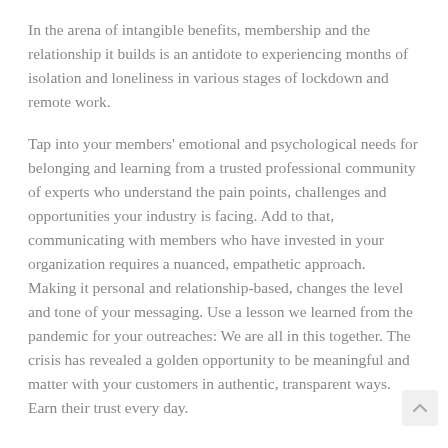In the arena of intangible benefits, membership and the relationship it builds is an antidote to experiencing months of isolation and loneliness in various stages of lockdown and remote work.
Tap into your members' emotional and psychological needs for belonging and learning from a trusted professional community of experts who understand the pain points, challenges and opportunities your industry is facing. Add to that, communicating with members who have invested in your organization requires a nuanced, empathetic approach.  Making it personal and relationship-based, changes the level and tone of your messaging. Use a lesson we learned from the pandemic for your outreaches: We are all in this together. The crisis has revealed a golden opportunity to be meaningful and matter with your customers in authentic, transparent ways. Earn their trust every day.